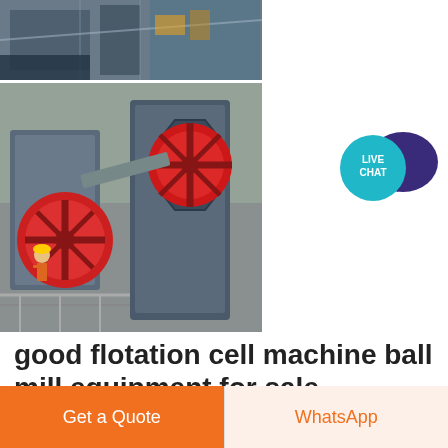[Figure (photo): Two industrial photos: top showing a factory/industrial facility exterior, bottom showing large red mining flotation cell machines with a worker in a hard hat]
[Figure (illustration): Live chat speech bubble icon with teal circle labeled LIVE CHAT and dark purple speech bubble]
good flotation cell machine ball mill equipment for sale
Aug 31, 2017· flotation cellport mills for sale in ia mining limemineral flotation cell manufacturer in
Get a Quote
WhatsApp